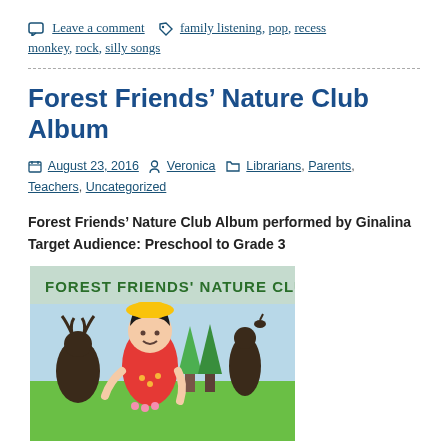Leave a comment   family listening, pop, recess monkey, rock, silly songs
Forest Friends’ Nature Club Album
August 23, 2016   Veronica   Librarians, Parents, Teachers, Uncategorized
Forest Friends’ Nature Club Album performed by Ginalina
Target Audience: Preschool to Grade 3
[Figure (illustration): Album cover illustration for Forest Friends' Nature Club Album, showing a cartoon girl with a yellow hat in a forest scene with animal silhouettes and trees. Text at top reads 'FOREST FRIENDS' NATURE CLUB ALBUM'.]